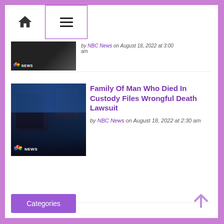Home | Menu navigation bar
by NBC News on August 18, 2022 at 3:00 am
[Figure (screenshot): NBC News video thumbnail showing a man in a suit with a red tie, NBC News logo in bottom left corner]
Family Of Man Who Died In Custody Files Wrongful Death Lawsuit
by NBC News on August 18, 2022 at 2:30 am
[Figure (screenshot): NBC News video thumbnail showing a Black man being restrained, NBC News logo in bottom left corner]
Categories